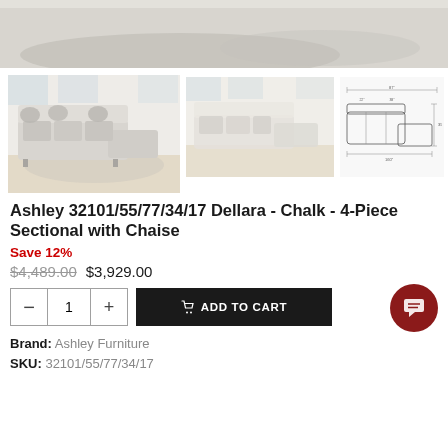[Figure (photo): Top portion of a sectional sofa with decorative rug, cropped product hero image]
[Figure (photo): Thumbnail 1: Dellara Chalk sectional sofa with chaise in a room setting, left angle]
[Figure (photo): Thumbnail 2: Dellara Chalk sectional sofa in a room setting, front angle]
[Figure (engineering-diagram): Thumbnail 3: Line drawing/dimension diagram of the 4-piece sectional with chaise]
Ashley 32101/55/77/34/17 Dellara - Chalk - 4-Piece Sectional with Chaise
Save 12%
$4,489.00 $3,929.00
- 1 + ADD TO CART
Brand: Ashley Furniture
SKU: 32101/55/77/34/17